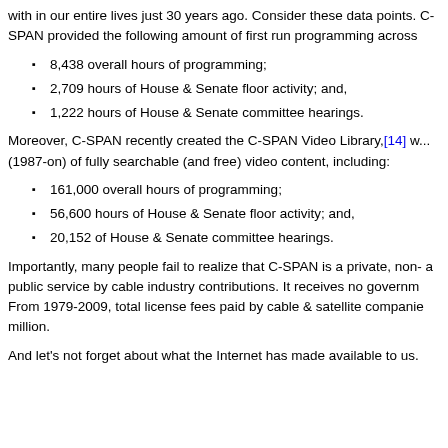with in our entire lives just 30 years ago. Consider these data points. C-SPAN provided the following amount of first run programming across
8,438 overall hours of programming;
2,709 hours of House & Senate floor activity; and,
1,222 hours of House & Senate committee hearings.
Moreover, C-SPAN recently created the C-SPAN Video Library,[14] w... (1987-on) of fully searchable (and free) video content, including:
161,000 overall hours of programming;
56,600 hours of House & Senate floor activity; and,
20,152 of House & Senate committee hearings.
Importantly, many people fail to realize that C-SPAN is a private, non- a public service by cable industry contributions. It receives no governm From 1979-2009, total license fees paid by cable & satellite companie million.
And let's not forget about what the Internet has made available to us.